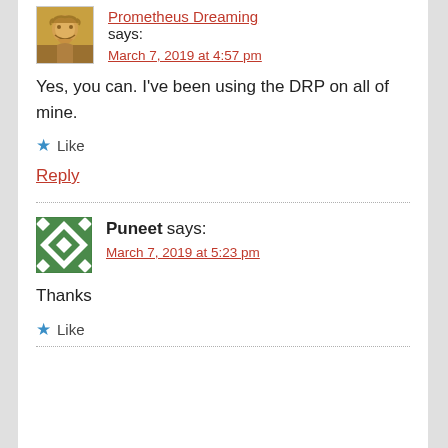Prometheus Dreaming says:
March 7, 2019 at 4:57 pm
Yes, you can. I've been using the DRP on all of mine.
Like
Reply
Puneet says:
March 7, 2019 at 5:23 pm
Thanks
Like